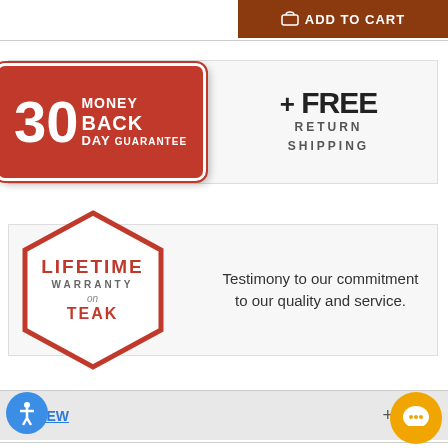[Figure (infographic): Brown 'Add to Cart' button with cart icon in top right corner]
[Figure (infographic): 30 Day Money Back Guarantee badge (red rounded rectangle) with + FREE RETURN SHIPPING text on white banner]
[Figure (infographic): Lifetime Warranty on Teak hexagonal red badge with text 'Testimony to our commitment to our quality and service.' on white banner]
ERVIEW
SET CONTENTS